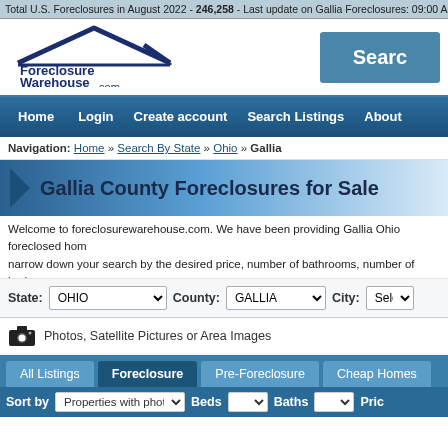Total U.S. Foreclosures in August 2022 - 246,258 - Last update on Gallia Foreclosures: 09:00 AM
[Figure (logo): Foreclosure Warehouse .com logo with house roof graphic in dark blue]
Search
Home   Login   Create account   Search Listings   About
Navigation: Home » Search By State » Ohio » Gallia
Gallia County Foreclosures for Sale
Welcome to foreclosurewarehouse.com. We have been providing Gallia Ohio foreclosed homes. narrow down your search by the desired price, number of bathrooms, number of bedrooms a foreclosurewarehouse.com. Every Gallia Ohio listing contains contact information and photo
State: OHIO   County: GALLIA   City: Sele
Photos, Satellite Pictures or Area Images
All Listings   Foreclosure   Pre-Foreclosure   Cheap Homes
Sort by Properties with photos   Beds   Baths   Price